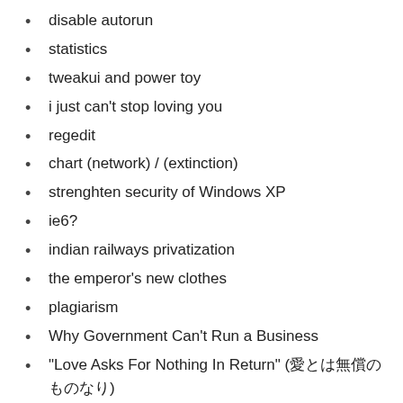disable autorun
statistics
tweakui and power toy
i just can’t stop loving you
regedit
chart (network) / (extinction)
strenghten security of Windows XP
ie6?
indian railways privatization
the emperor’s new clothes
plagiarism
Why Government Can’t Run a Business
“Love Asks For Nothing In Return” (愛とは無償のものなり)
Gintama
whom claim to choose lesser evil?
king revelations
queen revelations